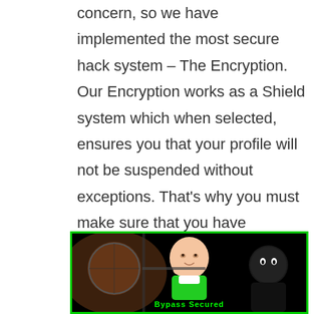concern, so we have implemented the most secure hack system – The Encryption. Our Encryption works as a Shield system which when selected, ensures you that your profile will not be suspended without exceptions. That's why you must make sure that you have checked this option Everytime you run the cheat tool!
[Figure (photo): A dark gaming-themed image with a scope view on the left, a baby 'success kid' meme character in the center wearing a green shirt, a dark character on the right, with green text at the bottom. Bordered with a bright green border.]